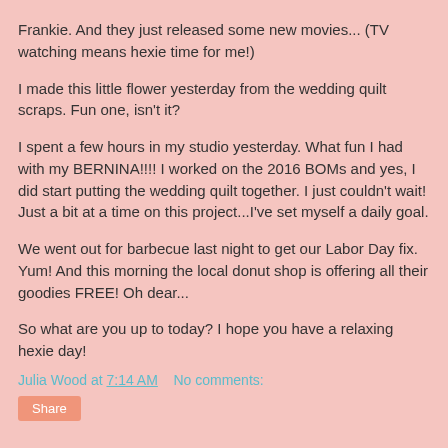Frankie. And they just released some new movies... (TV watching means hexie time for me!)
I made this little flower yesterday from the wedding quilt scraps. Fun one, isn't it?
I spent a few hours in my studio yesterday. What fun I had with my BERNINA!!!! I worked on the 2016 BOMs and yes, I did start putting the wedding quilt together. I just couldn't wait! Just a bit at a time on this project...I've set myself a daily goal.
We went out for barbecue last night to get our Labor Day fix. Yum! And this morning the local donut shop is offering all their goodies FREE! Oh dear...
So what are you up to today? I hope you have a relaxing hexie day!
Julia Wood at 7:14 AM   No comments:
Share